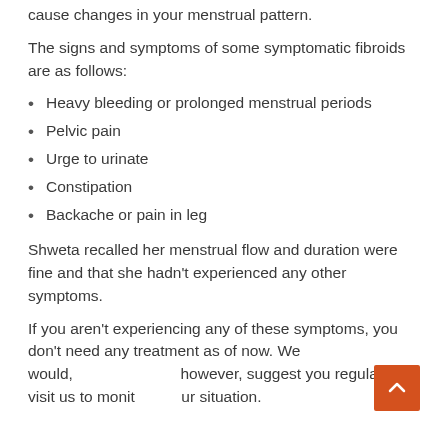cause changes in your menstrual pattern.
The signs and symptoms of some symptomatic fibroids are as follows:
Heavy bleeding or prolonged menstrual periods
Pelvic pain
Urge to urinate
Constipation
Backache or pain in leg
Shweta recalled her menstrual flow and duration were fine and that she hadn't experienced any other symptoms.
If you aren't experiencing any of these symptoms, you don't need any treatment as of now. We would, however, suggest you regularly visit us to monitor your situation.